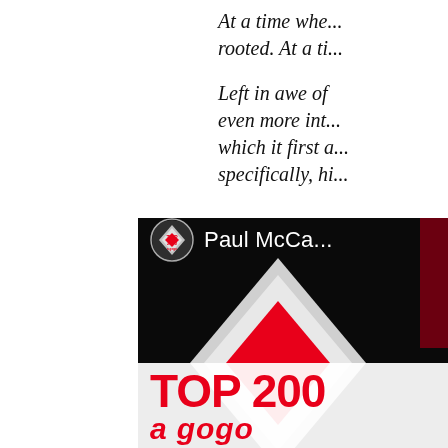At a time whe... rooted. At a ti...
Left in awe of ... even more int... which it first a... specifically, hi...
[Figure (photo): Top 2000 a gogo album/show cover featuring Paul McCartney text, a red and grey diamond logo (TOP 2000 a gogo), large stylized diamond shape, on a dark/black background with red accents. Bottom shows 'TOP 200' text and 'a gogo' in red italic on white background.]